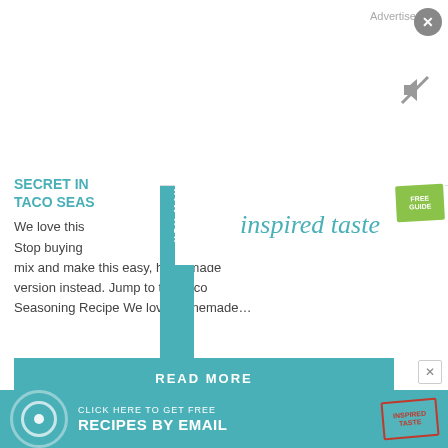Advertisement
[Figure (logo): Inspired taste logo in teal cursive script with green badge]
SECRET IN... TACO SEAS...
We love this... Stop buying ... mix and make this easy, homemade version instead. Jump to the Taco Seasoning Recipe We love homemade...
READ MORE
[Figure (illustration): Image placeholder box]
CLICK HERE TO GET FREE RECIPES BY EMAIL